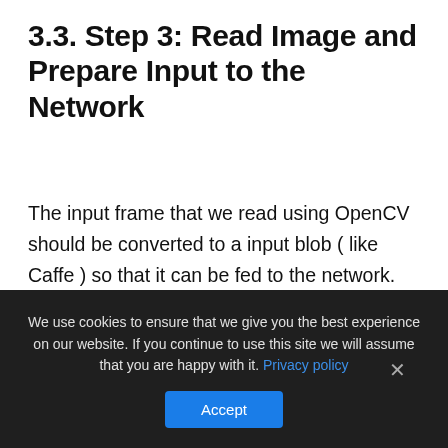3.3. Step 3: Read Image and Prepare Input to the Network
The input frame that we read using OpenCV should be converted to a input blob ( like Caffe ) so that it can be fed to the network. This is done using the blobFromImage function which converts the image from OpenCV format to Caffe blob format. The parameters are to be provided in the blobFromImage function. First we normalize the pixel values to be in (0,1). Then we specify the dimensions of the image. Next, the Mean value to be subtracted, which is
We use cookies to ensure that we give you the best experience on our website. If you continue to use this site we will assume that you are happy with it. Privacy policy
Accept